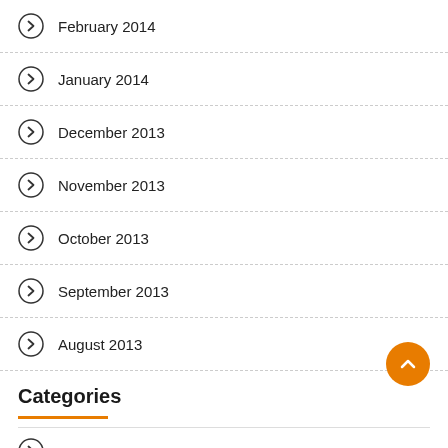February 2014
January 2014
December 2013
November 2013
October 2013
September 2013
August 2013
Categories